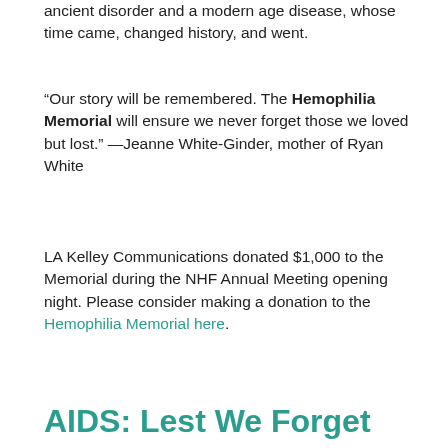ancient disorder and a modern age disease, whose time came, changed history, and went.
“Our story will be remembered. The Hemophilia Memorial will ensure we never forget those we loved but lost.” —Jeanne White-Ginder, mother of Ryan White
LA Kelley Communications donated $1,000 to the Memorial during the NHF Annual Meeting opening night. Please consider making a donation to the Hemophilia Memorial here.
AIDS: Lest We Forget